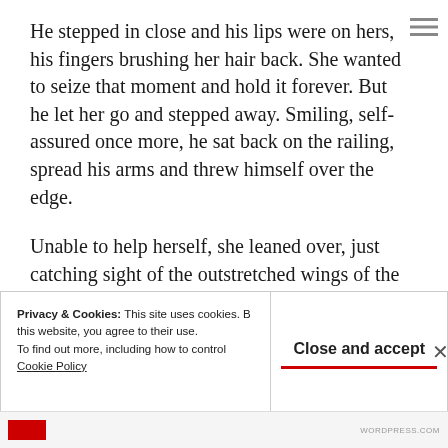He stepped in close and his lips were on hers, his fingers brushing her hair back. She wanted to seize that moment and hold it forever. But he let her go and stepped away. Smiling, self-assured once more, he sat back on the railing, spread his arms and threw himself over the edge.
Unable to help herself, she leaned over, just catching sight of the outstretched wings of the hawk as he swooped downward into the depths of
Privacy & Cookies: This site uses cookies. By continuing to use this website, you agree to their use. To find out more, including how to control cookies, see here: Cookie Policy
Close and accept